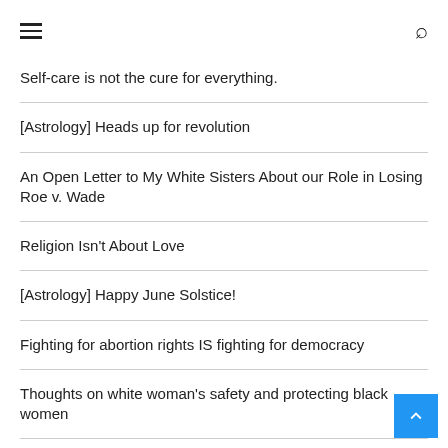Menu / Search
Self-care is not the cure for everything.
[Astrology] Heads up for revolution
An Open Letter to My White Sisters About our Role in Losing Roe v. Wade
Religion Isn't About Love
[Astrology] Happy June Solstice!
Fighting for abortion rights IS fighting for democracy
Thoughts on white woman's safety and protecting black women